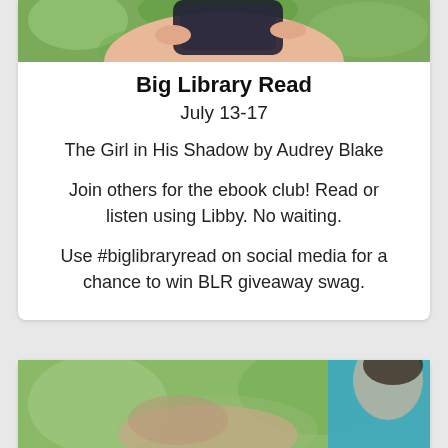[Figure (photo): Cropped photo of a hand holding a dark-colored smartphone, with green foliage in the background — top portion visible at the top of the first card.]
Big Library Read
July 13-17
The Girl in His Shadow by Audrey Blake
Join others for the ebook club! Read or listen using Libby. No waiting.
Use #biglibraryread on social media for a chance to win BLR giveaway swag.
[Figure (photo): Cropped photo of a person in a teal/blue top outdoors with greenery in the background — bottom portion visible at the bottom of the page in a second card.]